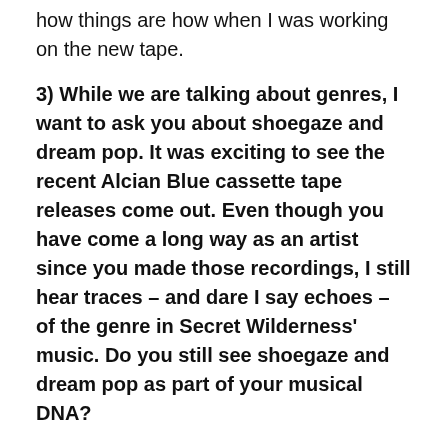how things are how when I was working on the new tape.
3) While we are talking about genres, I want to ask you about shoegaze and dream pop. It was exciting to see the recent Alcian Blue cassette tape releases come out. Even though you have come a long way as an artist since you made those recordings, I still hear traces – and dare I say echoes – of the genre in Secret Wilderness' music. Do you still see shoegaze and dream pop as part of your musical DNA?
Jake: I'm always exploring something new or trying something different but you'll always hear traces of shoegaze in it. For the live set this Friday I've got about as many stomp boxes set up as I did on my guitar pedalboard. I always aim for Cocteau Twins sounding